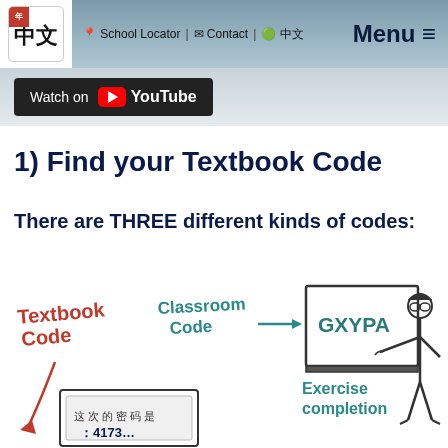School Locator | Contact | 中文 | Menu
[Figure (screenshot): YouTube watch button banner with dark background]
1) Find your Textbook Code
There are THREE different kinds of codes:
[Figure (illustration): Hand-drawn illustration showing Textbook Code, Classroom Code (GXYPA on a blackboard with teacher pointing), and Exercise completion code (密码 shown on screen below). Labels written in marker-style handwriting.]